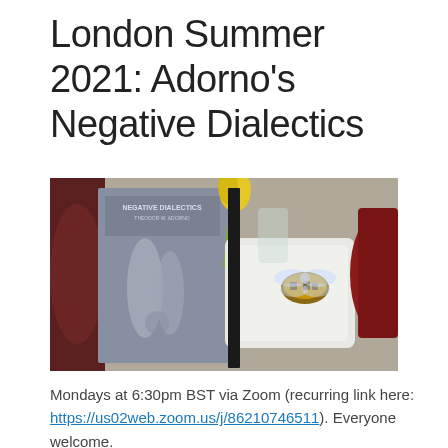London Summer 2021: Adorno's Negative Dialectics
[Figure (photo): Photo showing the book 'Negative Dialectics' by Theodor W. Adorno on a table alongside a yellow tulip in a small white dish with a bee illustration, a dark red object, and a cup on the left.]
Mondays at 6:30pm BST via Zoom (recurring link here: https://us02web.zoom.us/j/86210746511). Everyone welcome.
[Figure (photo): Partial photo showing the same book and yellow tulip from a different angle.]